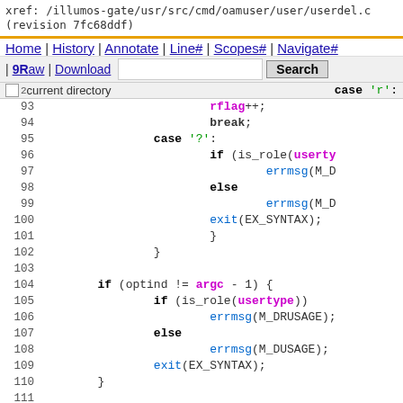xref: /illumos-gate/usr/src/cmd/oamuser/user/userdel.c
(revision 7fc68ddf)
Home | History | Annotate | Line# | Scopes# | Navigate#
| 9Raw | Download  [Search box] Search
02 current directory   case 'r':
[Figure (screenshot): Source code viewer showing C code from userdel.c, lines 92-115, with syntax highlighting. Lines show switch case statements, if/else blocks, logname assignment, and #ifdef preprocessor directive.]